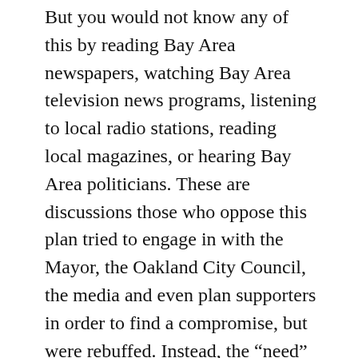But you would not know any of this by reading Bay Area newspapers, watching Bay Area television news programs, listening to local radio stations, reading local magazines, or hearing Bay Area politicians. These are discussions those who oppose this plan tried to engage in with the Mayor, the Oakland City Council, the media and even plan supporters in order to find a compromise, but were rebuffed. Instead, the “need” for deforestation and herbicide use was deemed “self-evident” and opponents were labeled as indifferent to public safety who debased the memory of those who died in the 1991 Firestorm.
In the absence of public discussion about the expertly substantiated criticism that the plan